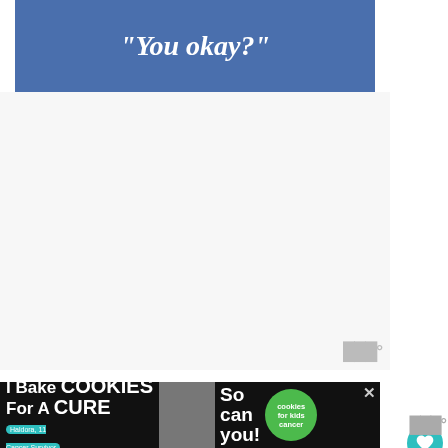[Figure (other): Blue banner advertisement with text 'You okay?' in white italic bold font]
[Figure (other): Large blank/white advertisement area with Wattpad logo watermark in bottom right]
Cloudy with a Chance of Meatballs
Life for the townspeople was delicious until the weather took a turn for the worse. The food got larger and larger and so did the portions. Chewandswallow was plagued by damaging floods and storms of huge food. The town was a mess and the people feared for their lives.
[Figure (other): WHAT'S NEXT arrow label with Movie Review Lapbook thumbnail and title]
[Figure (other): Bottom advertisement banner: I Bake COOKIES For A CURE with Haldora cancer survivor image, So can you text, and cookies for kids cancer logo]